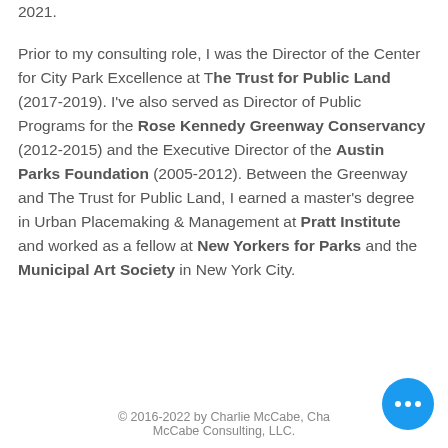2021.
Prior to my consulting role, I was the Director of the Center for City Park Excellence at The Trust for Public Land (2017-2019). I've also served as Director of Public Programs for the Rose Kennedy Greenway Conservancy (2012-2015) and the Executive Director of the Austin Parks Foundation (2005-2012). Between the Greenway and The Trust for Public Land, I earned a master's degree in Urban Placemaking & Management at Pratt Institute and worked as a fellow at New Yorkers for Parks and the Municipal Art Society in New York City.
© 2016-2022 by Charlie McCabe, Charlie McCabe Consulting, LLC.